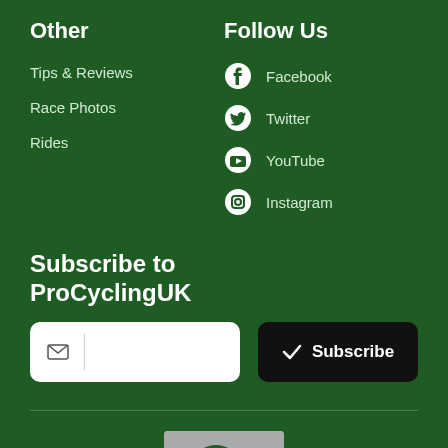Other
Tips & Reviews
Race Photos
Rides
Follow Us
Facebook
Twitter
YouTube
Instagram
Subscribe to
ProCyclingUK
[Figure (screenshot): Email input field with envelope icon]
[Figure (screenshot): Subscribe button with checkmark icon]
[Figure (logo): ProCyclingUK logo with green circle and bicycle]